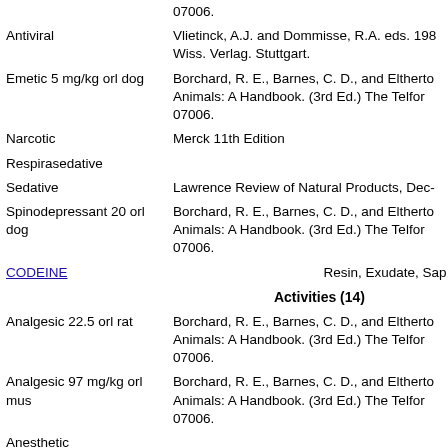| Antiviral | Vlietinck, A.J. and Dommisse, R.A. eds. 198... Wiss. Verlag. Stuttgart. |
| Emetic 5 mg/kg orl dog | Borchard, R. E., Barnes, C. D., and Eltherto... Animals: A Handbook. (3rd Ed.) The Telfor... 07006. |
| Narcotic | Merck 11th Edition |
| Respirasedative |  |
| Sedative | Lawrence Review of Natural Products, Dec-... |
| Spinodepressant 20 orl dog | Borchard, R. E., Barnes, C. D., and Eltherto... Animals: A Handbook. (3rd Ed.) The Telfor... 07006. |
| CODEINE | Resin, Exudate, Sap   - |
|  | Activities (14) |
| Analgesic 22.5 orl rat | Borchard, R. E., Barnes, C. D., and Eltherto... Animals: A Handbook. (3rd Ed.) The Telfor... 07006. |
| Analgesic 97 mg/kg orl mus | Borchard, R. E., Barnes, C. D., and Eltherto... Animals: A Handbook. (3rd Ed.) The Telfor... 07006. |
| Anesthetic |  |
| Anticoryzic |  |
| Antidiarrhoeic | Martindale 29th... |